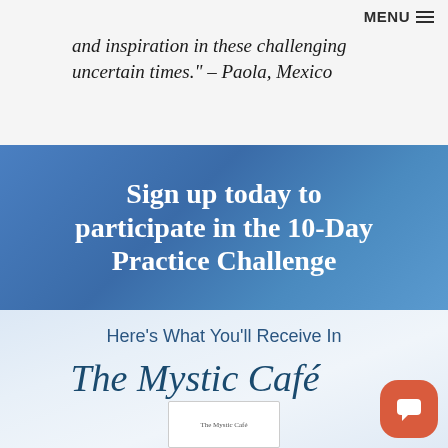MENU
and inspiration in these challenging uncertain times." – Paola, Mexico
Sign up today to participate in the 10-Day Practice Challenge
Here's What You'll Receive In
The Mystic Café
[Figure (screenshot): Book cover preview of The Mystic Café at the bottom of the page]